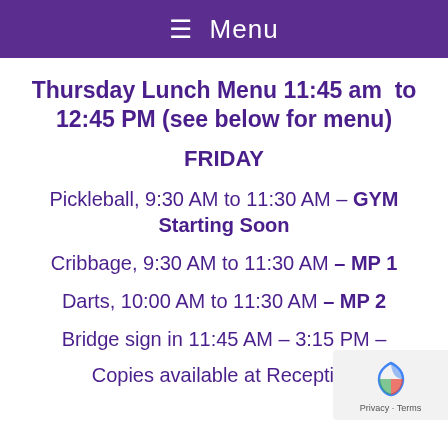≡ Menu
Thursday Lunch Menu 11:45 am to 12:45 PM (see below for menu)
FRIDAY
Pickleball, 9:30 AM to 11:30 AM – GYM Starting Soon
Cribbage, 9:30 AM to 11:30 AM – MP 1
Darts, 10:00 AM to 11:30 AM – MP 2
Bridge sign in 11:45 AM – 3:15 PM –
Copies available at Reception